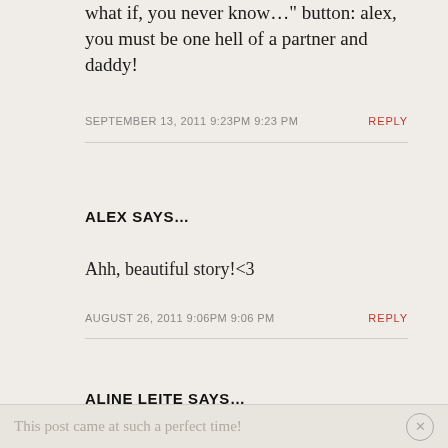what if, you never know… button: alex, you must be one hell of a partner and daddy!
SEPTEMBER 13, 2011 9:23PM 9:23 PM
REPLY
ALEX SAYS…
Ahh, beautiful story!<3
AUGUST 26, 2011 9:06PM 9:06 PM
REPLY
ALINE LEITE SAYS…
This post came at such a perfect time!